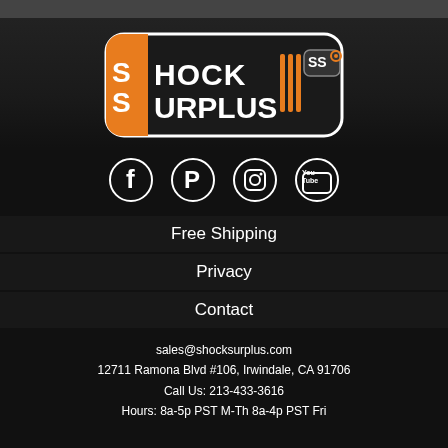[Figure (logo): Shock Surplus logo — orange and white text on dark rounded rectangle badge]
[Figure (infographic): Social media icons: Facebook, Pinterest, Instagram, YouTube]
Free Shipping
Privacy
Contact
sales@shocksurplus.com
12711 Ramona Blvd #106, Irwindale, CA 91706
Call Us: 213-433-3616
Hours: 8a-5p PST M-Th 8a-4p PST Fri